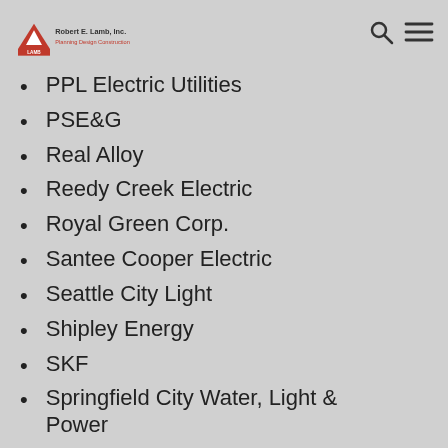Robert E. Lamb, Inc. — Planning Design Construction
PPL Electric Utilities
PSE&G
Real Alloy
Reedy Creek Electric
Royal Green Corp.
Santee Cooper Electric
Seattle City Light
Shipley Energy
SKF
Springfield City Water, Light & Power
Southern Company
Stauffer Biscuit Co.
TierPoint
Transicoil